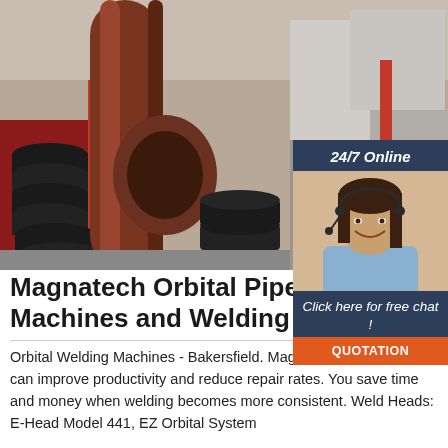[Figure (photo): Industrial pipe cutting/welding machine in a factory setting. A large red/brown pipe is being processed on machinery with black metal forming fixtures arranged in a row. Red machine components visible in background along with factory equipment.]
[Figure (photo): Chat widget overlay showing: '24/7 Online' header, a smiling female customer service agent wearing a headset, 'Click here for free chat!' text, and an orange 'QUOTATION' button.]
Magnatech Orbital Pipe Cu... Machines and Welding ...
Orbital Welding Machines - Bakersfield. Magnatech equipment can improve productivity and reduce repair rates. You save time and money when welding becomes more consistent. Weld Heads: E-Head Model 441, EZ Orbital System